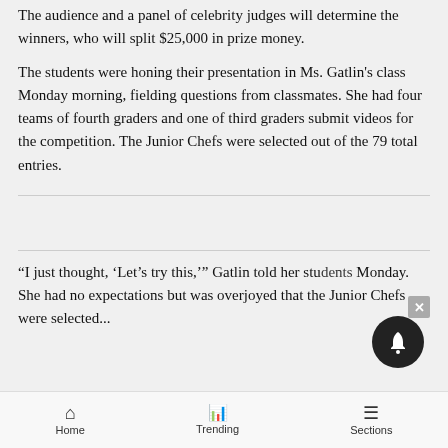The audience and a panel of celebrity judges will determine the winners, who will split $25,000 in prize money.
The students were honing their presentation in Ms. Gatlin's class Monday morning, fielding questions from classmates. She had four teams of fourth graders and one of third graders submit videos for the competition. The Junior Chefs were selected out of the 79 total entries.
“I just thought, ‘Let’s try this,’” Gatlin told her students Monday. She had no expectations but was overjoyed that the Junior Chefs were selected...
Home   Trending   Sections